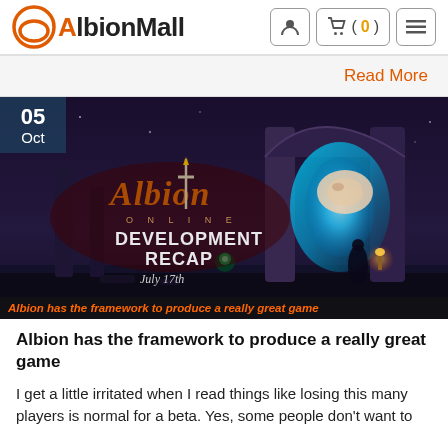AlbionMall
Read More
[Figure (screenshot): Albion Online Development Recap July 17th game screenshot with date badge 05 Oct and orange text 'Albion has the framework to produce a really great game']
Albion has the framework to produce a really great game
I get a little irritated when I read things like losing this many players is normal for a beta. Yes, some people don't want to